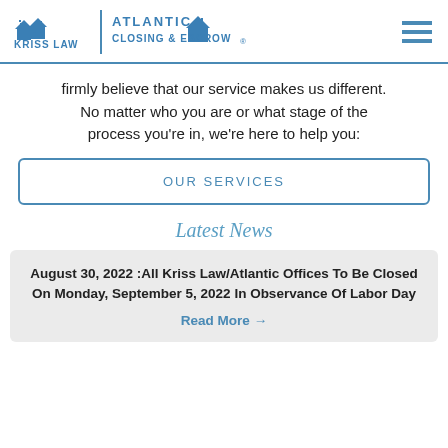Kriss Law | Atlantic Closing & Escrow
firmly believe that our service makes us different. No matter who you are or what stage of the process you're in, we're here to help you:
OUR SERVICES
Latest News
August 30, 2022 :All Kriss Law/Atlantic Offices To Be Closed On Monday, September 5, 2022 In Observance Of Labor Day
Read More →